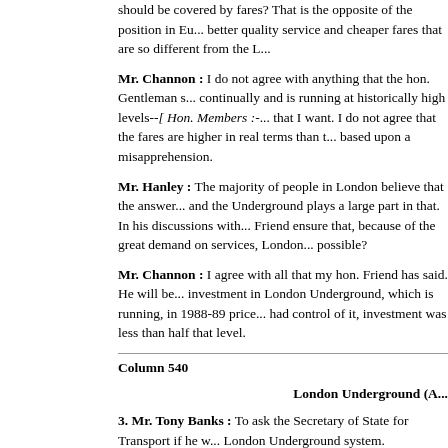should be covered by fares? That is the opposite of the position in Eu... better quality service and cheaper fares that are so different from the L...
Mr. Channon : I do not agree with anything that the hon. Gentleman s... continually and is running at historically high levels--[ Hon. Members :-... that I want. I do not agree that the fares are higher in real terms than t... based upon a misapprehension.
Mr. Hanley : The majority of people in London believe that the answer... and the Underground plays a large part in that. In his discussions with... Friend ensure that, because of the great demand on services, London... possible?
Mr. Channon : I agree with all that my hon. Friend has said. He will be... investment in London Underground, which is running, in 1988-89 price... had control of it, investment was less than half that level.
Column 540
London Underground (A...
3. Mr. Tony Banks : To ask the Secretary of State for Transport if he w... London Underground system.
The Minister for Public Transport (Mr. Michael Portillo) : I understa... working of the Underground ticketing system is expected shortly.
Mr. Banks : Will the young and up-and-coming Minister please explain... installing ticket gates when virtually no one in London approves of the... Westminster Underground station, where the authorities have to lock t... please call in London Underground to tell it to stop this ridiculous sch...